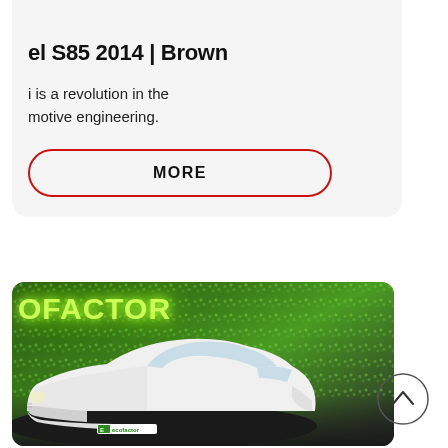[Figure (photo): Top portion of a Tesla Model S car image, partially cropped at the top]
el S85 2014 | Brown
is a revolution in the motive engineering.
MORE
[Figure (photo): White electric car (front view) displayed in front of a green mossy wall with glowing 'ECOFACTOR' text. An ecofactor badge/logo is visible on the car's front bumper area.]